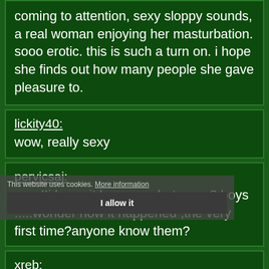coming to attention, sexy sloppy sounds, a real woman enjoying her masturbation. sooo erotic. this is such a turn on. i hope she finds out how many people she gave pleasure to.
lickity40:
wow, really sexy
pervicsaj:
wow!!i know it happens ,but wow 2 boys .....wonder how it happened ,the very first time?anyone know them?
xreb:
nice work!
This website uses cookies. More information
I allow it